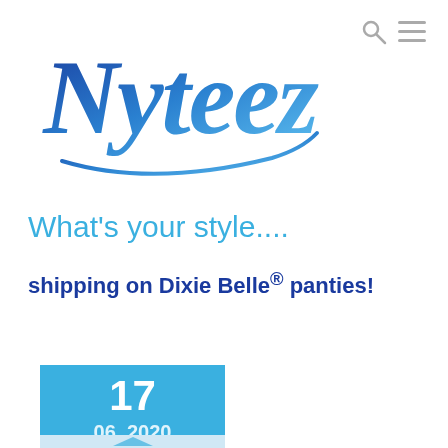[Figure (logo): Nyteez brand logo in blue script/cursive lettering with gradient from dark blue to light blue]
What's your style....
shipping on Dixie Belle® panties!
17
06, 2020